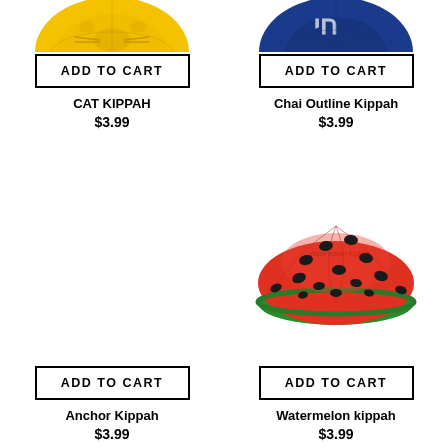[Figure (photo): Yellow cat kippah viewed from above, partially cropped]
ADD TO CART
CAT KIPPAH
$3.99
[Figure (photo): Blue chai outline kippah viewed from above, partially cropped]
ADD TO CART
Chai Outline Kippah
$3.99
ADD TO CART
Anchor Kippah
$3.99
[Figure (photo): Red watermelon kippah with black dots and green trim, viewed from side-above]
ADD TO CART
Watermelon kippah
$3.99